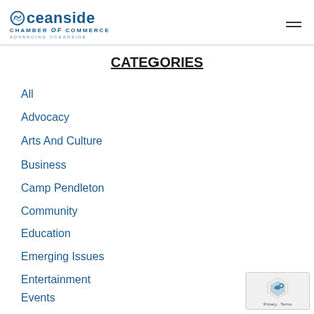Oceanside Chamber of Commerce - Advancing Oceanside
CATEGORIES
All
Advocacy
Arts And Culture
Business
Camp Pendleton
Community
Education
Emerging Issues
Entertainment
Events
Finance